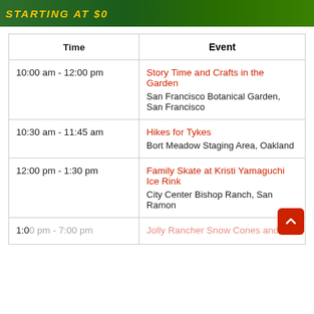[Figure (illustration): Green banner with yellow text and decorative image on left side]
| Time | Event |
| --- | --- |
| 10:00 am - 12:00 pm | Story Time and Crafts in the Garden
San Francisco Botanical Garden, San Francisco |
| 10:30 am - 11:45 am | Hikes for Tykes
Bort Meadow Staging Area, Oakland |
| 12:00 pm - 1:30 pm | Family Skate at Kristi Yamaguchi Ice Rink
City Center Bishop Ranch, San Ramon |
| 1:00 pm - 7:00 pm | Jolly Rancher Snow Cones and... |